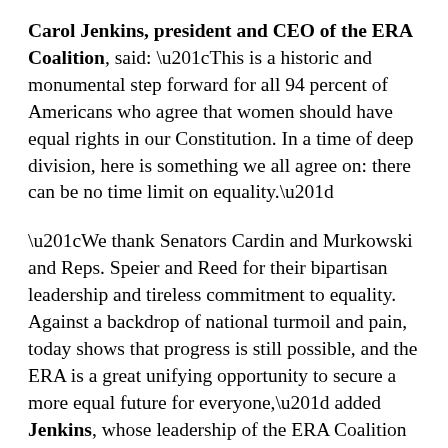Carol Jenkins, president and CEO of the ERA Coalition, said: “This is a historic and monumental step forward for all 94 percent of Americans who agree that women should have equal rights in our Constitution. In a time of deep division, here is something we all agree on: there can be no time limit on equality.”
“We thank Senators Cardin and Murkowski and Reps. Speier and Reed for their bipartisan leadership and tireless commitment to equality. Against a backdrop of national turmoil and pain, today shows that progress is still possible, and the ERA is a great unifying opportunity to secure a more equal future for everyone,” added Jenkins, whose leadership of the ERA Coalition has centered the perspectives and participation those whose lives are most impacted by systemic